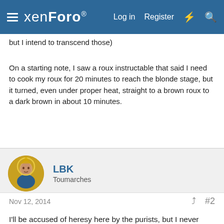xenForo — Log in  Register
( ... but I intend to transcend those)
On a starting note, I saw a roux instructable that said I need to cook my roux for 20 minutes to reach the blonde stage, but it turned, even under proper heat, straight to a brown roux to a dark brown in about 10 minutes.
LBK
Toumarches
Nov 12, 2014  #2
I'll be accused of heresy here by the purists, but I never make a roux for white sauce and the like. I blend the flour in the milk, and make sure the brew simmers for two or three minutes to ...